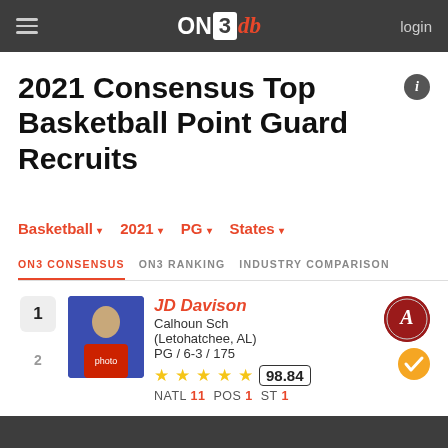ON3db — login
2021 Consensus Top Basketball Point Guard Recruits
Basketball ▾  2021 ▾  PG ▾  States ▾
ON3 CONSENSUS   ON3 RANKING   INDUSTRY COMPARISON
1  JD Davison  Calhoun Sch (Letohatchee, AL)  PG / 6-3 / 175  ★★★★★  98.84  NATL 11 POS 1 ST 1